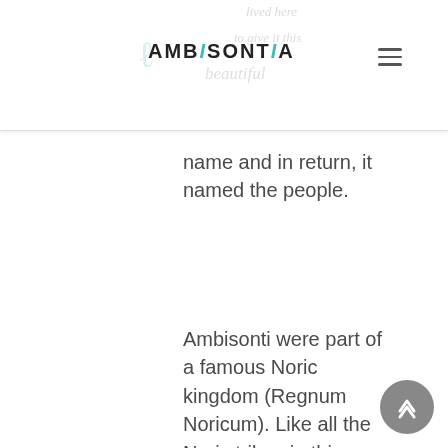AMBISONTIA (logo header with navigation)
name and in return, it named the people.
Ambisonti were part of a famous Noric kingdom (Regnum Noricum). Like all the Noric tribes in this kingdom, they were hillfolk...